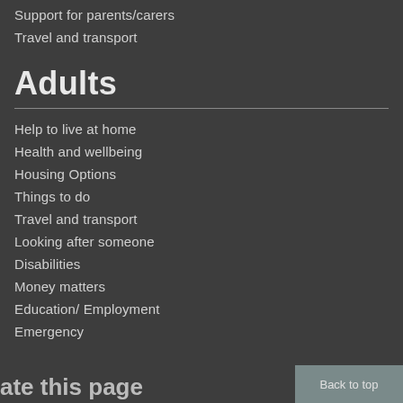Support for parents/carers
Travel and transport
Adults
Help to live at home
Health and wellbeing
Housing Options
Things to do
Travel and transport
Looking after someone
Disabilities
Money matters
Education/ Employment
Emergency
ate this page
Back to top